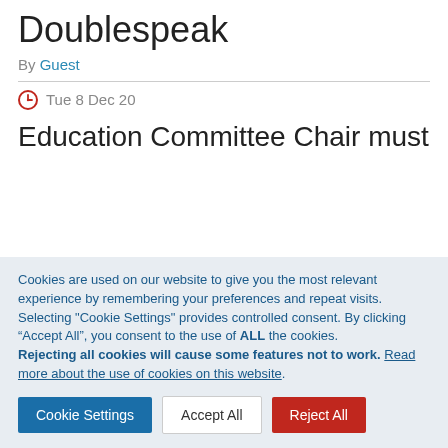Doublespeak
By Guest
Tue 8 Dec 20
Education Committee Chair must
Cookies are used on our website to give you the most relevant experience by remembering your preferences and repeat visits.
Selecting "Cookie Settings" provides controlled consent. By clicking “Accept All”, you consent to the use of ALL the cookies.
Rejecting all cookies will cause some features not to work. Read more about the use of cookies on this website.